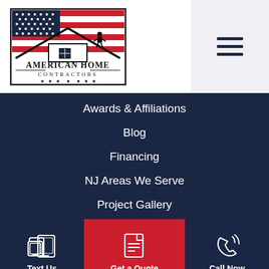[Figure (logo): American Home Contractors logo with American flag background, rooftop silhouette with contractor, text 'AMERICAN HOME CONTRACTORS' with stars]
Awards & Affiliations
Blog
Financing
NJ Areas We Serve
Project Gallery
Text Us
Get a Quote
Call Now